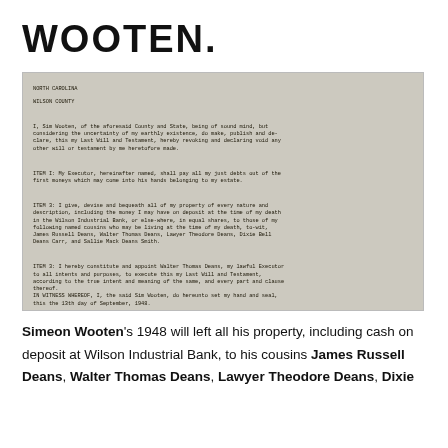WOOTEN.
[Figure (photo): Scanned image of a typewritten last will and testament document for Sim Wooten, North Carolina, Wilson County, dated September 13, 1948, with signatures of Sim Wooten and witnesses Yada W. Lamb, Luke Lamb, and Mary M. Westphal.]
Simeon Wooten's 1948 will left all his property, including cash on deposit at Wilson Industrial Bank, to his cousins James Russell Deans, Walter Thomas Deans, Lawyer Theodore Deans, Dixie